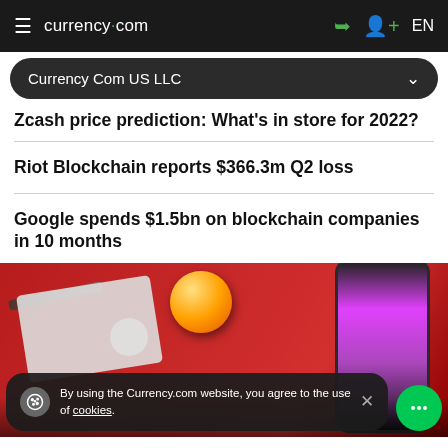currency.com  EN
Currency Com US LLC
Zcash price prediction: What's in store for 2022?
Riot Blockchain reports $366.3m Q2 loss
Google spends $1.5bn on blockchain companies in 10 months
[Figure (photo): Photo showing a golden Bitcoin coin, a white credit card, a black pen, a notebook, and a pink/magenta smartphone on a red background]
By using the Currency.com website, you agree to the use of cookies.